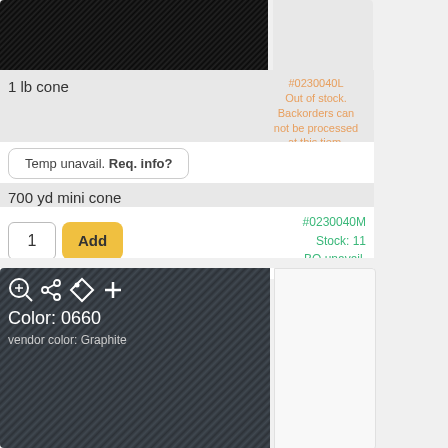[Figure (photo): Close-up photo of black yarn texture on a cone]
1 lb cone
#0230040L
Out of stock.
Backorders can not be processed at this tiem.
Temp unavail. Req. info?
700 yd mini cone
#0230040M
Stock: 11
BO unavail.
1
Add
[Figure (photo): Close-up photo of dark graphite/charcoal yarn texture with overlay icons and color label]
Color: 0660
vendor color: Graphite